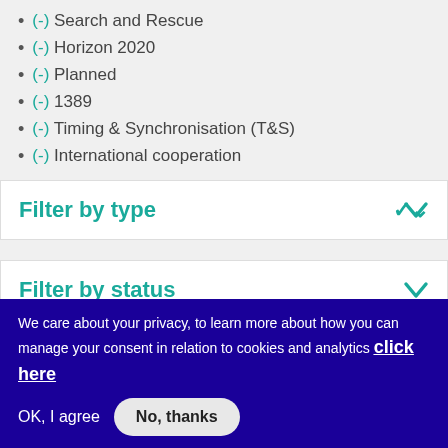(-) Search and Rescue
(-) Horizon 2020
(-) Planned
(-) 1389
(-) Timing & Synchronisation (T&S)
(-) International cooperation
Filter by type
Filter by status
We care about your privacy, to learn more about how you can manage your consent in relation to cookies and analytics click here
OK, I agree
No, thanks